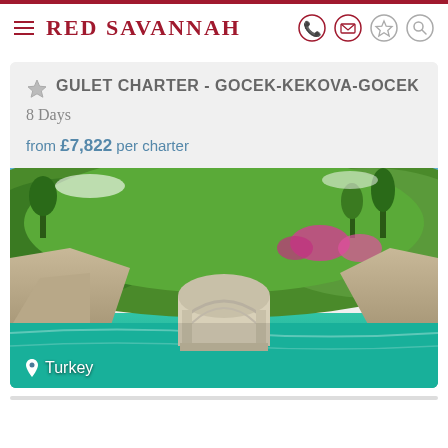Red Savannah
GULET CHARTER - GOCEK-KEKOVA-GOCEK
8 Days
from £7,822 per charter
[Figure (photo): Scenic coastal photo showing a partially submerged ancient stone building (ruins of Kekova) in turquoise water, with lush green hillside and colorful flowers (bougainvillea) in the background under a blue sky. Location label 'Turkey' overlaid at bottom left.]